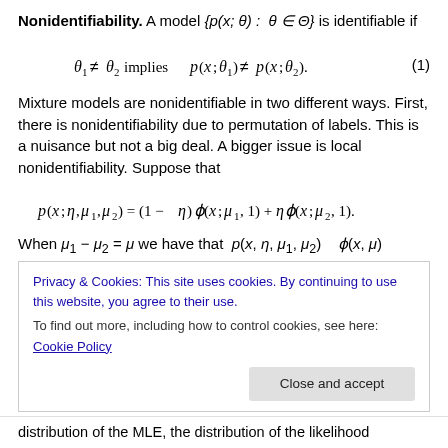Nonidentifiability. A model {p(x; θ) : θ ∈ Θ} is identifiable if
Mixture models are nonidentifiable in two different ways. First, there is nonidentifiability due to permutation of labels. This is a nuisance but not a big deal. A bigger issue is local nonidentifiability. Suppose that
When μ₁ = μ₂ = μ, we have that p(x; η, μ₁, μ₂) = φ(x, μ)
Privacy & Cookies: This site uses cookies. By continuing to use this website, you agree to their use.
To find out more, including how to control cookies, see here: Cookie Policy
distribution of the MLE, the distribution of the likelihood